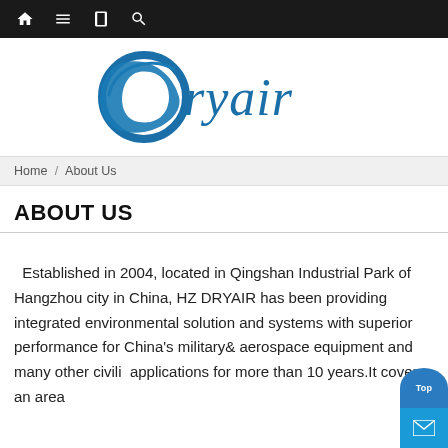Navigation bar with home, menu, book, and search icons
[Figure (logo): Dryair company logo with blue swoosh and italic blue text 'Dryair']
Home / About Us
ABOUT US
Established in 2004, located in Qingshan Industrial Park of Hangzhou city in China, HZ DRYAIR has been providing integrated environmental solution and systems with superior performance for China's military& aerospace equipment and many other civilian applications for more than 10 years.It covers an area